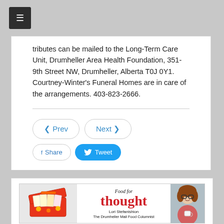tributes can be mailed to the Long-Term Care Unit, Drumheller Area Health Foundation, 351-9th Street NW, Drumheller, Alberta T0J 0Y1. Courtney-Winter's Funeral Homes are in care of the arrangements. 403-823-2666.
[Figure (screenshot): Navigation buttons (Prev, Next) and social share buttons (Share, Tweet)]
[Figure (infographic): Food for thought advertisement banner featuring Lori Stefanishion, The Drumheller Mail Food Columnist, with a recipe box illustration on the left and a photo of a woman on the right.]